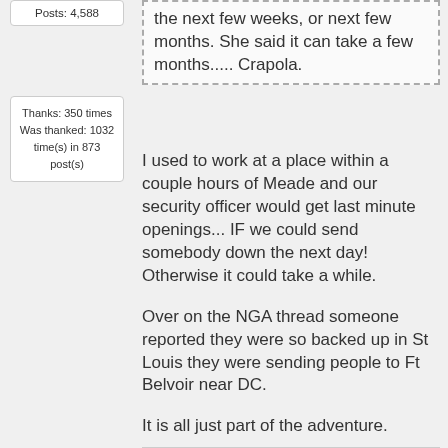Posts: 4,588
Thanks: 350 times
Was thanked: 1032 time(s) in 873 post(s)
the next few weeks, or next few months. She said it can take a few months..... Crapola.
I used to work at a place within a couple hours of Meade and our security officer would get last minute openings... IF we could send somebody down the next day! Otherwise it could take a while.
Over on the NGA thread someone reported they were so backed up in St Louis they were sending people to Ft Belvoir near DC.
It is all just part of the adventure.